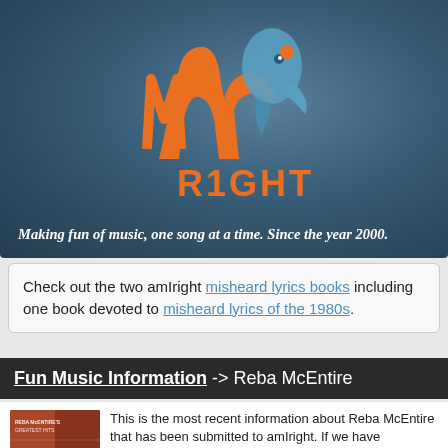[Figure (logo): amIright logo with orange stylized letters 'ami' and a blue bird/quill graphic, with 'RIGHT' in orange below, on a blue-grey gradient banner background]
Making fun of music, one song at a time. Since the year 2000.
Check out the two amIright misheard lyrics books including one book devoted to misheard lyrics of the 1980s.
Fun Music Information -> Reba McEntire
[Figure (photo): Album cover thumbnail for Reba McEntire's Greatest Hits]
This is the most recent information about Reba McEntire that has been submitted to amIright. If we have